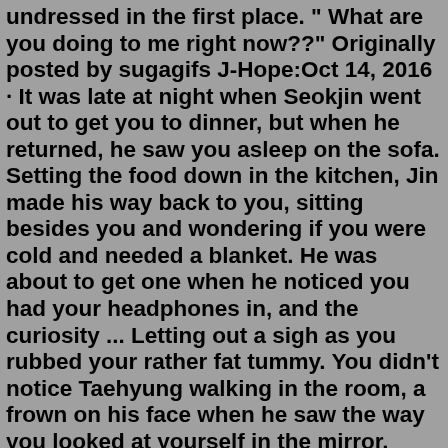undressed in the first place. " What are you doing to me right now??" Originally posted by sugagifs J-Hope:Oct 14, 2016 · It was late at night when Seokjin went out to get you to dinner, but when he returned, he saw you asleep on the sofa. Setting the food down in the kitchen, Jin made his way back to you, sitting besides you and wondering if you were cold and needed a blanket. He was about to get one when he noticed you had your headphones in, and the curiosity ... Letting out a sigh as you rubbed your rather fat tummy. You didn't notice Taehyung walking in the room, a frown on his face when he saw the way you looked at yourself in the mirror. "What are you doing?" Taehyung voice snapped you out of your trance. You looked up, meeting his gaze. "I'm fat." You pouted, slightly poking your stomach.BTS Reactions To You Walking Out Of The Shower Naked ♡Jimin♡: “Are you sure you don’t want to come with us?” Jimin asked for the hundredth time. “I’m sure! Go have fun with Taehyung,” you reassured him with a kiss on the cheek and with that he was gone.